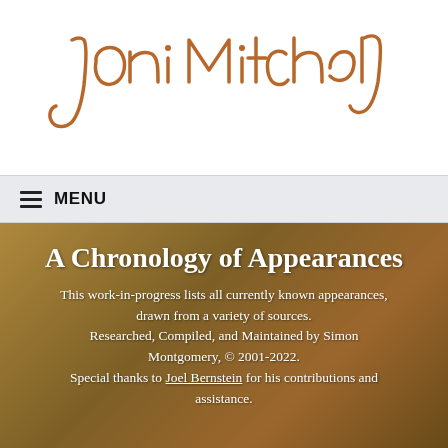[Figure (illustration): Handwritten cursive signature reading 'Joni Mitchell' in a warm brown/copper color on white background]
≡ MENU
A Chronology of Appearances
This work-in-progress lists all currently known appearances, drawn from a variety of sources. Researched, Compiled, and Maintained by Simon Montgomery, © 2001-2022. Special thanks to Joel Bernstein for his contributions and assistance.